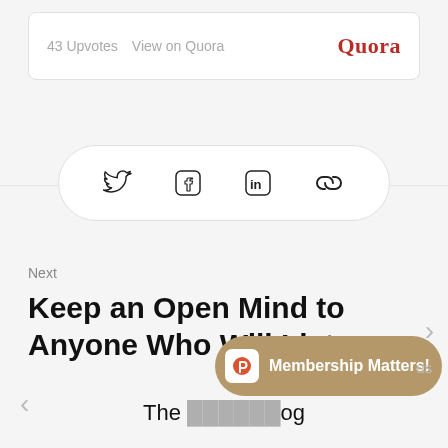43 Upvotes   View on Quora
Quora
[Figure (infographic): Social share pill with Twitter, Facebook, LinkedIn and link icons]
Next
Keep an Open Mind to Anyone Who Will Listen
[Figure (infographic): Toast notification pill with ProductHunt logo and text: Membership Matters!]
The [obscured] og